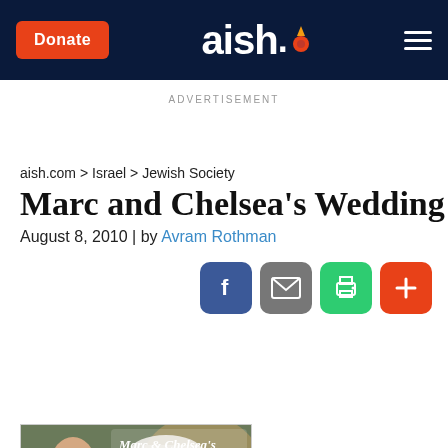Donate | aish. | ☰
ADVERTISEMENT
aish.com > Israel > Jewish Society
Marc and Chelsea's Wedding
August 8, 2010 | by Avram Rothman
[Figure (photo): Wedding photo of Marc and Chelsea with script text overlay 'Marc & Chelsea's Wedding']